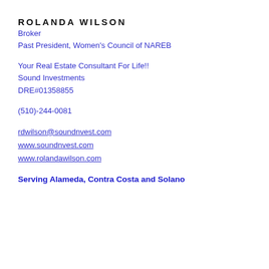ROLANDA WILSON
Broker
Past President, Women's Council of NAREB
Your Real Estate Consultant For Life!!
Sound Investments
DRE#01358855
(510)-244-0081
rdwilson@soundnvest.com
www.soundnvest.com
www.rolandawilson.com
Serving Alameda, Contra Costa and Solano Counties